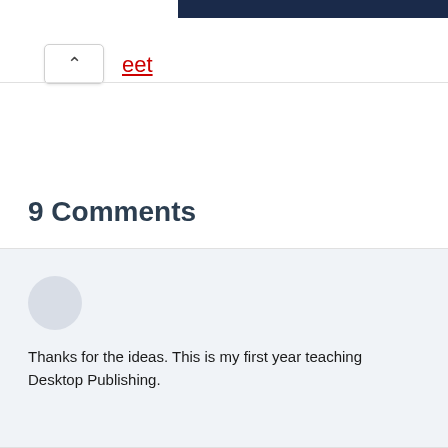eet
9 Comments
Terri
September 15th, 2013
Thanks for the ideas. This is my first year teaching Desktop Publishing.